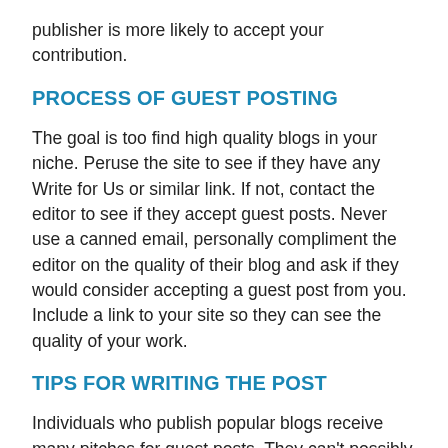publisher is more likely to accept your contribution.
PROCESS OF GUEST POSTING
The goal is too find high quality blogs in your niche. Peruse the site to see if they have any Write for Us or similar link. If not, contact the editor to see if they accept guest posts. Never use a canned email, personally compliment the editor on the quality of their blog and ask if they would consider accepting a guest post from you. Include a link to your site so they can see the quality of your work.
TIPS FOR WRITING THE POST
Individuals who publish popular blogs receive many pitches for guest posts. They can't possibly read through all of them, making an engaging headline is essential for catching their attention. Certain types of headlines attract more attention that others. If your post is a guide